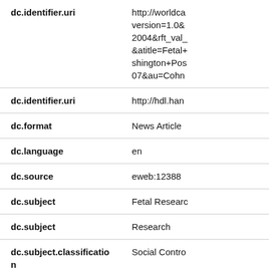| Field | Value |
| --- | --- |
| dc.identifier.uri | http://worldca...version=1.0&2004&rft_val_...&atitle=Fetal+shington+Po...07&au=Cohn |
| dc.identifier.uri | http://hdl.han... |
| dc.format | News Article |
| dc.language | en |
| dc.source | eweb:12388 |
| dc.subject | Fetal Researc... |
| dc.subject | Research |
| dc.subject.classification | Social Contro... |
| dc.subject.classification | Research on... |
| dc.title | Fetal Researc... |